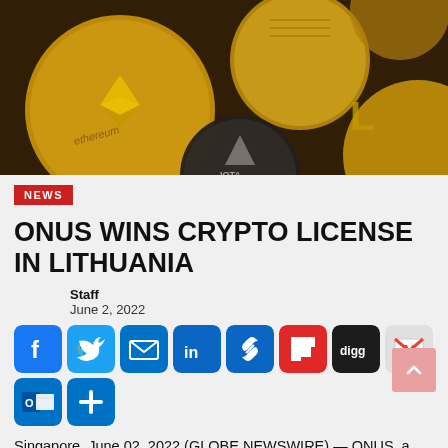[Figure (photo): Close-up photo of gold cryptocurrency coins including Ethereum and other altcoins]
NEWS
ONUS WINS CRYPTO LICENSE IN LITHUANIA
Staff
June 2, 2022
[Figure (infographic): Social sharing buttons row: Facebook, Twitter, Email, LinkedIn, Link, Flipboard, Digg, Gmail, Outlook, More]
Singapore, June 02, 2022 (GLOBE NEWSWIRE) — ONUS, a digital...